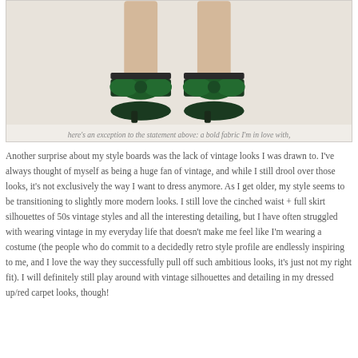[Figure (photo): A pair of dark green velvet bow heeled sandals with ankle straps on a person's feet against a light beige background.]
here's an exception to the statement above: a bold fabric I'm in love with, but surprise, surprise- it's all in my color palette!
Another surprise about my style boards was the lack of vintage looks I was drawn to. I've always thought of myself as being a huge fan of vintage, and while I still drool over those looks, it's not exclusively the way I want to dress anymore. As I get older, my style seems to be transitioning to slightly more modern looks. I still love the cinched waist + full skirt silhouettes of 50s vintage styles and all the interesting detailing, but I have often struggled with wearing vintage in my everyday life that doesn't make me feel like I'm wearing a costume (the people who do commit to a decidedly retro style profile are endlessly inspiring to me, and I love the way they successfully pull off such ambitious looks, it's just not my right fit). I will definitely still play around with vintage silhouettes and detailing in my dressed up/red carpet looks, though!